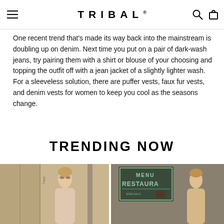TRIBAL®
One recent trend that's made its way back into the mainstream is doubling up on denim. Next time you put on a pair of dark-wash jeans, try pairing them with a shirt or blouse of your choosing and topping the outfit off with a jean jacket of a slightly lighter wash. For a sleeveless solution, there are puffer vests, faux fur vests, and denim vests for women to keep you cool as the seasons change.
TRENDING NOW
[Figure (photo): Woman in light-colored outfit standing outdoors near bamboo/wooden background]
[Figure (photo): Woman standing near a restaurant sign/chalkboard menu]